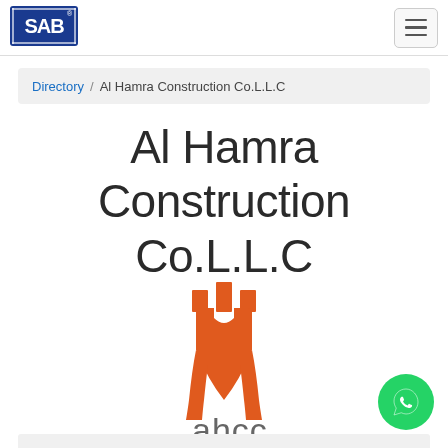[Figure (logo): SAB logo - blue rectangular logo with 'SAB' text and registered trademark symbol]
[Figure (other): Hamburger menu icon button with three horizontal lines]
Directory / Al Hamra Construction Co.L.L.C
Al Hamra Construction Co.L.L.C
[Figure (logo): AHCC logo - orange arch/castle-like design with 'ahcc' text in grey below]
[Figure (other): WhatsApp green circle button with phone icon]